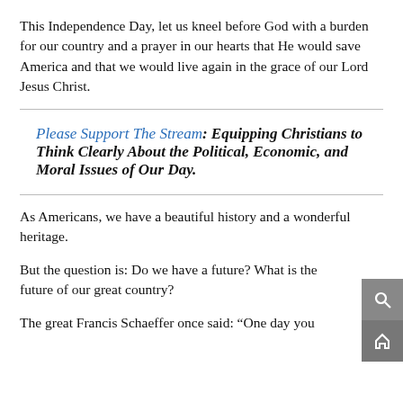This Independence Day, let us kneel before God with a burden for our country and a prayer in our hearts that He would save America and that we would live again in the grace of our Lord Jesus Christ.
Please Support The Stream: Equipping Christians to Think Clearly About the Political, Economic, and Moral Issues of Our Day.
As Americans, we have a beautiful history and a wonderful heritage.
But the question is: Do we have a future? What is the future of our great country?
The great Francis Schaeffer once said: “One day you